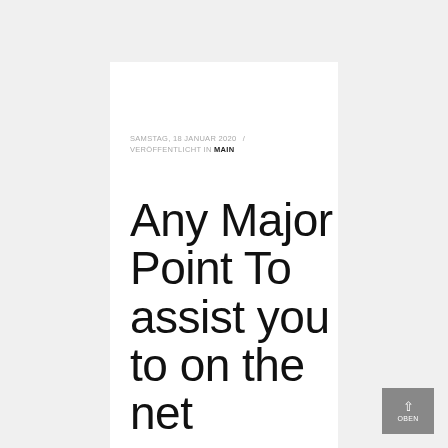SAMSTAG, 18 JANUAR 2020  /  VERÖFFENTLICHT IN MAIN
Any Major Point To assist you to on the net